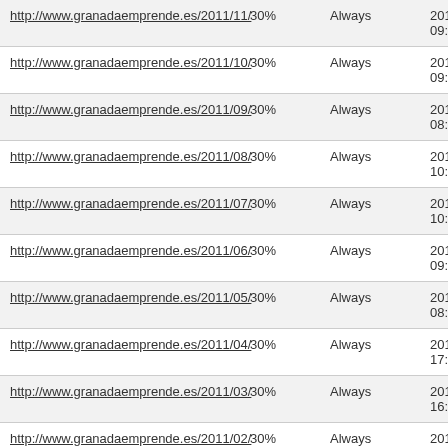| http://www.granadaemprende.es/2011/11/ | 30% | Always | 2011-11-15
09:08 |
| http://www.granadaemprende.es/2011/10/ | 30% | Always | 2011-10-29
09:54 |
| http://www.granadaemprende.es/2011/09/ | 30% | Always | 2011-09-30
08:58 |
| http://www.granadaemprende.es/2011/08/ | 30% | Always | 2011-08-31
10:53 |
| http://www.granadaemprende.es/2011/07/ | 30% | Always | 2011-07-29
10:23 |
| http://www.granadaemprende.es/2011/06/ | 30% | Always | 2011-06-30
09:00 |
| http://www.granadaemprende.es/2011/05/ | 30% | Always | 2011-05-31
08:10 |
| http://www.granadaemprende.es/2011/04/ | 30% | Always | 2011-04-28
17:00 |
| http://www.granadaemprende.es/2011/03/ | 30% | Always | 2011-03-31
16:48 |
| http://www.granadaemprende.es/2011/02/ | 30% | Always | 2011-02-25
11:23 |
| http://www.granadaemprende.es/2011/01/ | 30% | Always | 2011-01-27
16:28 |
| http://www.granadaemprende.es/2010/12/ | 30% | Always | 2010-12-16
00:53 |
| http://www.granadaemprende.es/2010/11/ | 30% | Always | 2010-11-30
... |